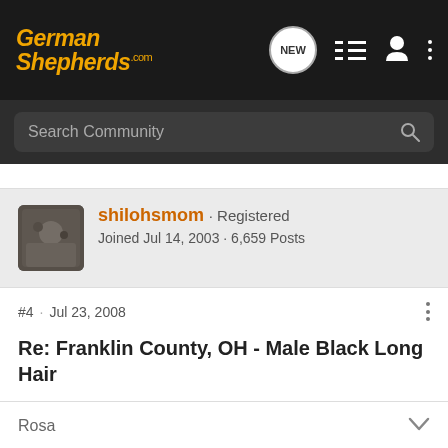GermanShepherds.com
Search Community
shilohsmom · Registered
Joined Jul 14, 2003 · 6,659 Posts
#4 · Jul 23, 2008
Re: Franklin County, OH - Male Black Long Hair
oh he looks soooo scared in that first picture  how sad. And this is that place with the awful tiny cages!!!
Rosa